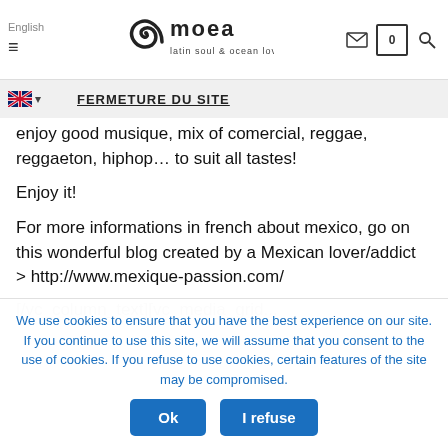English | Moea latin soul & ocean lovers | [mail icon] | 0 | [search icon] | [hamburger menu]
FERMETURE DU SITE
enjoy good musique, mix of comercial, reggae, reggaeton, hiphop… to suit all tastes!
Enjoy it!
For more informations in french about mexico, go on this wonderful blog created by a Mexican lover/addict
> http://www.mexique-passion.com/
[vc_column_text][vc_media_grid...
We use cookies to ensure that you have the best experience on our site. If you continue to use this site, we will assume that you consent to the use of cookies. If you refuse to use cookies, certain features of the site may be compromised.